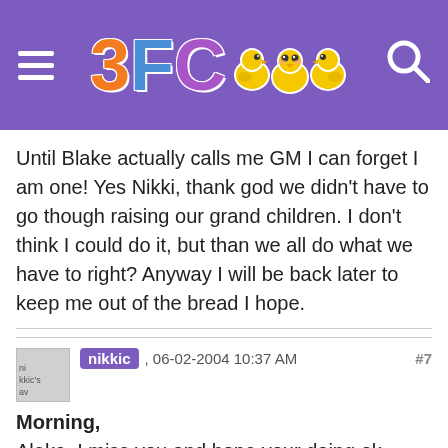3FC [logo with chicks]
Until Blake actually calls me GM I can forget I am one! Yes Nikki, thank god we didn't have to go though raising our grand children. I don't think I could do it, but than we all do what we have to right? Anyway I will be back later to keep me out of the bread I hope.
nikkic, 06-02-2004 10:37 AM #7
Morning,
Aleka, I miss you and hope your doing ok. Your going from one extreme to another as far as weather goes. At least you know what Florida is like, so it's not a big surprise.

Anne, hope your first meeting with [devil emoji] goes better than you think. She probably has a mountain of work to catch